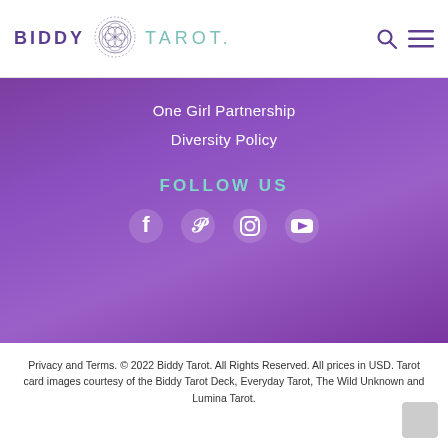BIDDY TAROT.
One Girl Partnership
Diversity Policy
FOLLOW US
[Figure (other): Social media icons: Facebook, Pinterest, Instagram, YouTube]
Privacy and Terms.  © 2022 Biddy Tarot. All Rights Reserved. All prices in USD. Tarot card images courtesy of the Biddy Tarot Deck, Everyday Tarot, The Wild Unknown and Lumina Tarot.